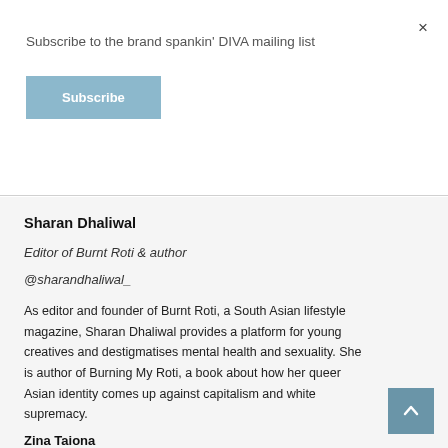Subscribe to the brand spankin' DIVA mailing list
Subscribe
×
Sharan Dhaliwal
Editor of Burnt Roti & author
@sharandhaliwal_
As editor and founder of Burnt Roti, a South Asian lifestyle magazine, Sharan Dhaliwal provides a platform for young creatives and destigmatises mental health and sexuality. She is author of Burning My Roti, a book about how her queer Asian identity comes up against capitalism and white supremacy.
Zina Taiona